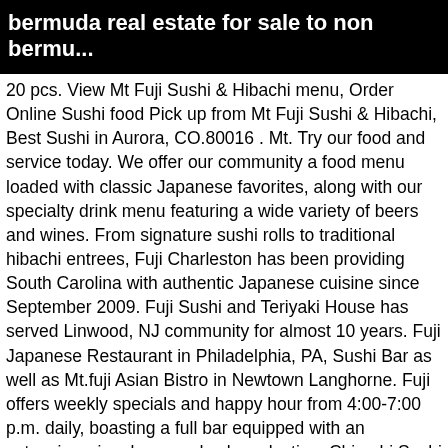bermuda real estate for sale to non bermu...
20 pcs. View Mt Fuji Sushi & Hibachi menu, Order Online Sushi food Pick up from Mt Fuji Sushi & Hibachi, Best Sushi in Aurora, CO.80016 . Mt. Try our food and service today. We offer our community a food menu loaded with classic Japanese favorites, along with our specialty drink menu featuring a wide variety of beers and wines. From signature sushi rolls to traditional hibachi entrees, Fuji Charleston has been providing South Carolina with authentic Japanese cuisine since September 2009. Fuji Sushi and Teriyaki House has served Linwood, NJ community for almost 10 years. Fuji Japanese Restaurant in Philadelphia, PA, Sushi Bar as well as Mt.fuji Asian Bistro in Newtown Langhorne. Fuji offers weekly specials and happy hour from 4:00-7:00 p.m. daily, boasting a full bar equipped with an extensive wine, beer, and sake selection. Chirashi Sushi (Assorted fish on sushi rice) $22.95: 6. Mt. Fuji, Best Sushi Delivery in Castle Rock, CO We even feature rotating lunch specials, so you can always expect something special waiting for you. Appetizers From Sushi Bar 18: